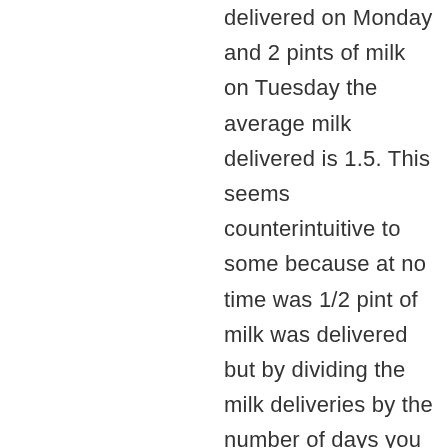delivered on Monday and 2 pints of milk on Tuesday the average milk delivered is 1.5. This seems counterintuitive to some because at no time was 1/2 pint of milk was delivered but by dividing the milk deliveries by the number of days you are no longer talking about the real world of milk instead you are now talking about the relationship between milk deliveries and days.